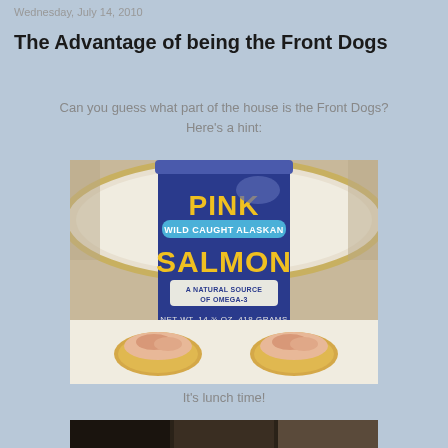Wednesday, July 14, 2010
The Advantage of being the Front Dogs
Can you guess what part of the house is the Front Dogs? Here's a hint:
[Figure (photo): A can of Pink Wild Caught Alaskan Salmon (A Natural Source of Omega-3, Net Wt. 14 3/4 oz. 418 grams) on a plate with two crackers topped with salmon spread in front of it.]
It's lunch time!
[Figure (photo): Bottom portion of a second photo, partially visible, appears to show a room interior.]